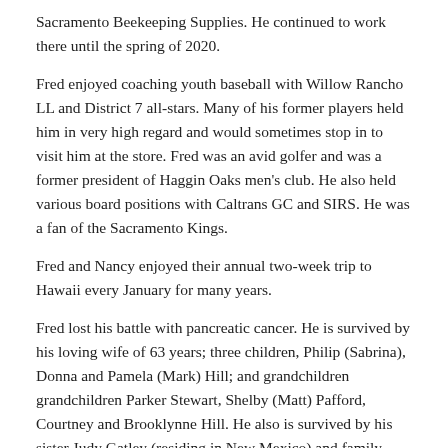Sacramento Beekeeping Supplies. He continued to work there until the spring of 2020.
Fred enjoyed coaching youth baseball with Willow Rancho LL and District 7 all-stars. Many of his former players held him in very high regard and would sometimes stop in to visit him at the store. Fred was an avid golfer and was a former president of Haggin Oaks men's club. He also held various board positions with Caltrans GC and SIRS. He was a fan of the Sacramento Kings.
Fred and Nancy enjoyed their annual two-week trip to Hawaii every January for many years.
Fred lost his battle with pancreatic cancer. He is survived by his loving wife of 63 years; three children, Philip (Sabrina), Donna and Pamela (Mark) Hill; and grandchildren grandchildren Parker Stewart, Shelby (Matt) Pafford, Courtney and Brooklynne Hill. He also is survived by his sister Judy Gatley (residing in New Mexico) and family.